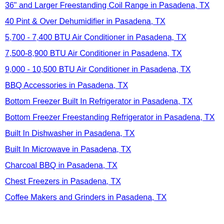36" and Larger Freestanding Coil Range in Pasadena, TX
40 Pint & Over Dehumidifier in Pasadena, TX
5,700 - 7,400 BTU Air Conditioner in Pasadena, TX
7,500-8,900 BTU Air Conditioner in Pasadena, TX
9,000 - 10,500 BTU Air Conditioner in Pasadena, TX
BBQ Accessories in Pasadena, TX
Bottom Freezer Built In Refrigerator in Pasadena, TX
Bottom Freezer Freestanding Refrigerator in Pasadena, TX
Built In Dishwasher in Pasadena, TX
Built In Microwave in Pasadena, TX
Charcoal BBQ in Pasadena, TX
Chest Freezers in Pasadena, TX
Coffee Makers and Grinders in Pasadena, TX